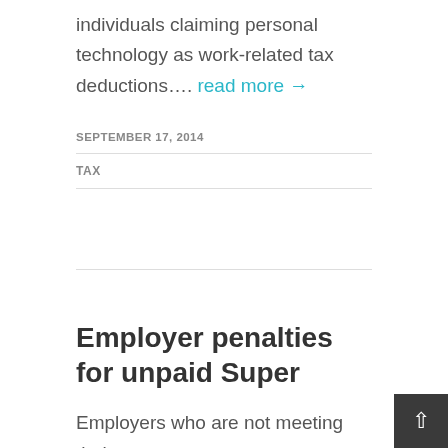individuals claiming personal technology as work-related tax deductions…. read more →
SEPTEMBER 17, 2014
TAX
Employer penalties for unpaid Super
Employers who are not meeting their